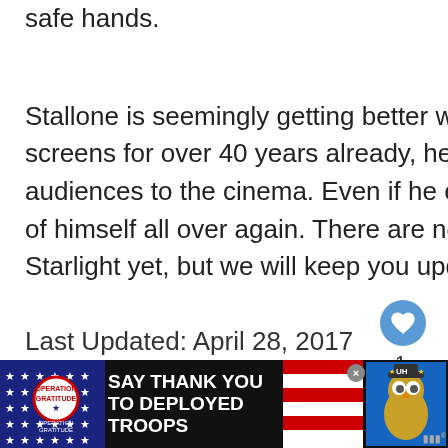safe hands.
Stallone is seemingly getting better with age and despite gracing our screens for over 40 years already, he is still capable of drawing audiences to the cinema. Even if he ends up playing various versions of himself all over again. There are no planned release dates for Starlight yet, but we will keep you updated as it develops further.
Last Updated: April 28, 2017
[Figure (screenshot): Heart/like button (blue circle with white heart icon) and like count of 1, plus pink up-arrow button]
[Figure (screenshot): What's Next panel showing Final Fantasy VII – The... with green game image thumbnail]
[Figure (screenshot): Advertisement banner: Operation Gratitude – SAY THANK YOU TO DEPLOYED TROOPS with patriotic imagery and mascot owl]